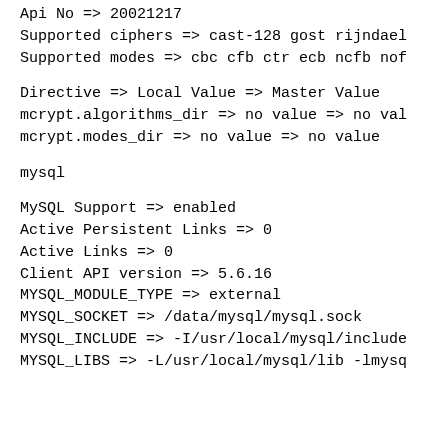Api No => 20021217
Supported ciphers => cast-128 gost rijndael
Supported modes => cbc cfb ctr ecb ncfb nof
Directive => Local Value => Master Value
mcrypt.algorithms_dir => no value => no val
mcrypt.modes_dir => no value => no value
mysql
MySQL Support => enabled
Active Persistent Links => 0
Active Links => 0
Client API version => 5.6.16
MYSQL_MODULE_TYPE => external
MYSQL_SOCKET => /data/mysql/mysql.sock
MYSQL_INCLUDE => -I/usr/local/mysql/include
MYSQL_LIBS => -L/usr/local/mysql/lib -lmysq